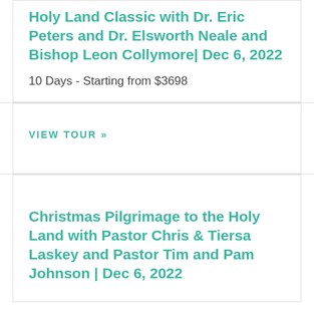Holy Land Classic with Dr. Eric Peters and Dr. Elsworth Neale and Bishop Leon Collymore| Dec 6, 2022
10 Days - Starting from $3698
VIEW TOUR »
Christmas Pilgrimage to the Holy Land with Pastor Chris & Tiersa Laskey and Pastor Tim and Pam Johnson | Dec 6, 2022